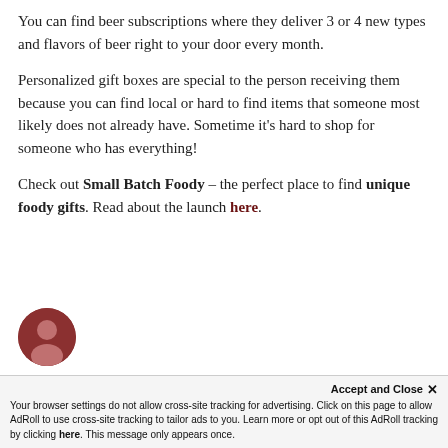You can find beer subscriptions where they deliver 3 or 4 new types and flavors of beer right to your door every month.
Personalized gift boxes are special to the person receiving them because you can find local or hard to find items that someone most likely does not already have. Sometime it's hard to shop for someone who has everything!
Check out Small Batch Foody – the perfect place to find unique foody gifts. Read about the launch here.
[Figure (illustration): Circular author avatar icon showing a silhouette person shape in dark red/brown color]
Accept and Close ×
Your browser settings do not allow cross-site tracking for advertising. Click on this page to allow AdRoll to use cross-site tracking to tailor ads to you. Learn more or opt out of this AdRoll tracking by clicking here. This message only appears once.